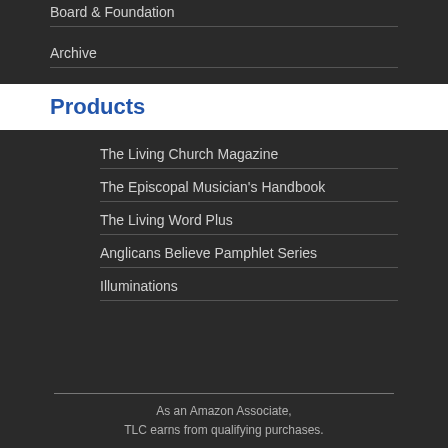Board & Foundation
Archive
Products
The Living Church Magazine
The Episcopal Musician's Handbook
The Living Word Plus
Anglicans Believe Pamphlet Series
Illuminations
As an Amazon Associate, TLC earns from qualifying purchases.